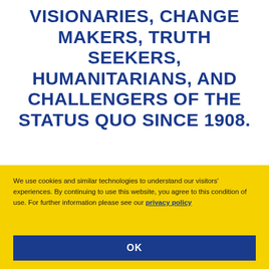VISIONARIES, CHANGE MAKERS, TRUTH SEEKERS, HUMANITARIANS, AND CHALLENGERS OF THE STATUS QUO SINCE 1908.
[Figure (screenshot): Georgian Court University logo text partially visible: 'GEORGIAN COURT' in large dark blue bold uppercase letters]
We use cookies and similar technologies to understand our visitors' experiences. By continuing to use this website, you agree to this condition of use. For further information please see our privacy policy